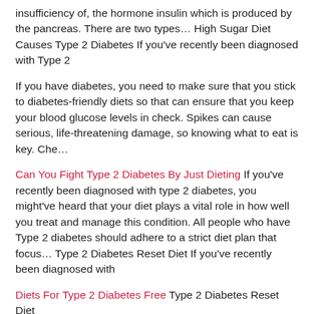insufficiency of, the hormone insulin which is produced by the pancreas. There are two types… High Sugar Diet Causes Type 2 Diabetes If you've recently been diagnosed with Type 2
If you have diabetes, you need to make sure that you stick to diabetes-friendly diets so that can ensure that you keep your blood glucose levels in check. Spikes can cause serious, life-threatening damage, so knowing what to eat is key. Che…
Can You Fight Type 2 Diabetes By Just Dieting If you've recently been diagnosed with type 2 diabetes, you might've heard that your diet plays a vital role in how well you treat and manage this condition. All people who have Type 2 diabetes should adhere to a strict diet plan that focus… Type 2 Diabetes Reset Diet If you've recently been diagnosed with
Diets For Type 2 Diabetes Free Type 2 Diabetes Reset Diet If you've recently been diagnosed with a diet...